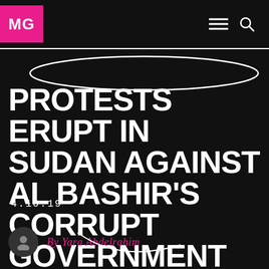MG
PROTESTS ERUPT IN SUDAN AGAINST AL BASHIR'S CORRUPT GOVERNMENT
4.10.19
By Yara Abdelrahim